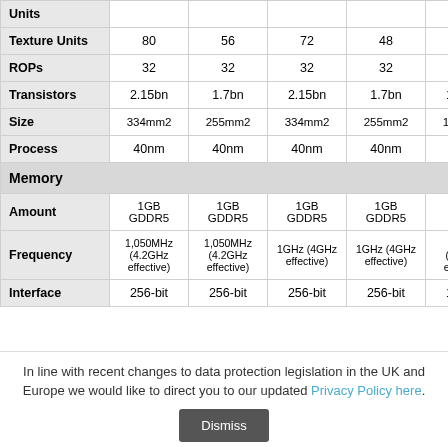|  | Col1 | Col2 | Col3 | Col4 | Col5 | Col6 |
| --- | --- | --- | --- | --- | --- | --- |
| Units |  |  |  |  |  |  |
| Texture Units | 80 | 56 | 72 | 48 | 40 |  |
| ROPs | 32 | 32 | 32 | 32 | 16 |  |
| Transistors | 2.15bn | 1.7bn | 2.15bn | 1.7bn | 1.04bn |  |
| Size | 334mm2 | 255mm2 | 334mm2 | 255mm2 | 166mm2 | 53 |
| Process | 40nm | 40nm | 40nm | 40nm | 40nm | 4 |
| Memory |  |  |  |  |  |  |
| Amount | 1GB GDDR5 | 1GB GDDR5 | 1GB GDDR5 | 1GB GDDR5 | 1GB DDR5 | 1,2 G |
| Frequency | 1,050MHz (4.2GHz effective) | 1,050MHz (4.2GHz effective) | 1GHz (4GHz effective) | 1GHz (4GHz effective) | 1.2GHz (4.8GHz effective) | 83 (3 eff |
| Interface | 256-bit | 256-bit | 256-bit | 256-bit | 128-bit | 3 |
In line with recent changes to data protection legislation in the UK and Europe we would like to direct you to our updated Privacy Policy here.